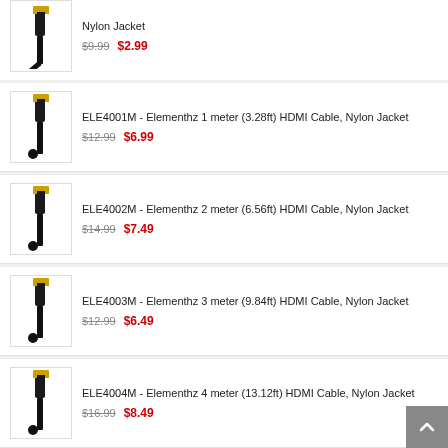Nylon Jacket $9.99 $2.99
ELE4001M - Elementhz 1 meter (3.28ft) HDMI Cable, Nylon Jacket $12.99 $6.99
ELE4002M - Elementhz 2 meter (6.56ft) HDMI Cable, Nylon Jacket $14.99 $7.49
ELE4003M - Elementhz 3 meter (9.84ft) HDMI Cable, Nylon Jacket $12.99 $6.49
ELE4004M - Elementhz 4 meter (13.12ft) HDMI Cable, Nylon Jacket $16.99 $8.49